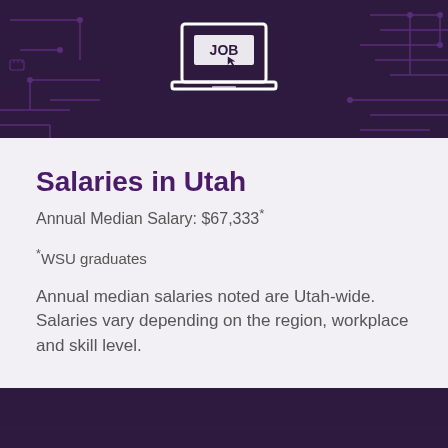[Figure (illustration): Dark purple circuit board banner with a laptop icon displaying the word JOB on screen]
Salaries in Utah
Annual Median Salary: $67,333*
*WSU graduates
Annual median salaries noted are Utah-wide. Salaries vary depending on the region, workplace and skill level.
[Figure (illustration): Dark purple textured bottom banner]